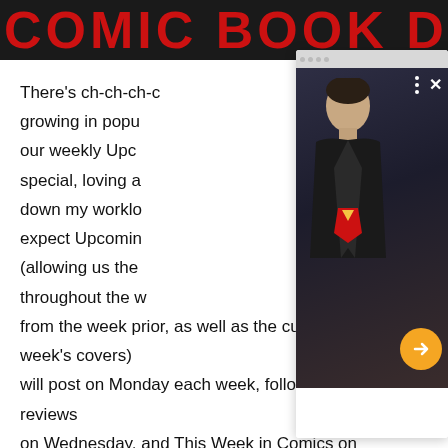COMIC BOOK DAY:
There's ch-ch-ch-ch-changes happening around here. Upcoming in popularity, our weekly Upcoming special, loving a down my workload, expect Upcoming (allowing us the throughout the week from the week prior, as well as the current week's covers) will post on Monday each week, followed by our reviews on Wednesday, and This Week in Comics on Friday.
[Figure (screenshot): Video player overlay showing a young man in a black leather jacket with a Superman logo t-shirt, standing in a dimly lit scene. The player has a gray top bar with navigation dots, a three-dot menu icon, an X close button, and a yellow circular arrow/play button on the right side.]